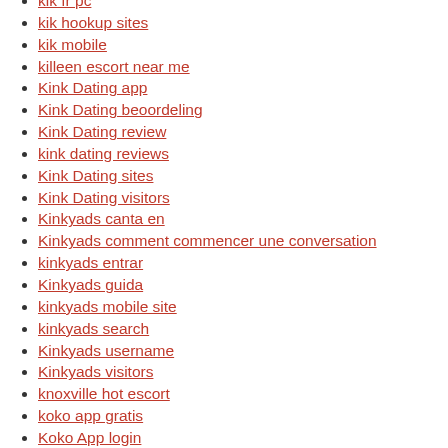kik fr pc
kik hookup sites
kik mobile
killeen escort near me
Kink Dating app
Kink Dating beoordeling
Kink Dating review
kink dating reviews
Kink Dating sites
Kink Dating visitors
Kinkyads canta en
Kinkyads comment commencer une conversation
kinkyads entrar
Kinkyads guida
kinkyads mobile site
kinkyads search
Kinkyads username
Kinkyads visitors
knoxville hot escort
koko app gratis
Koko App login
Koko buscar
Koko dating
Korean Cupid Expirience
Korean Cupid review
Korean Cupid login